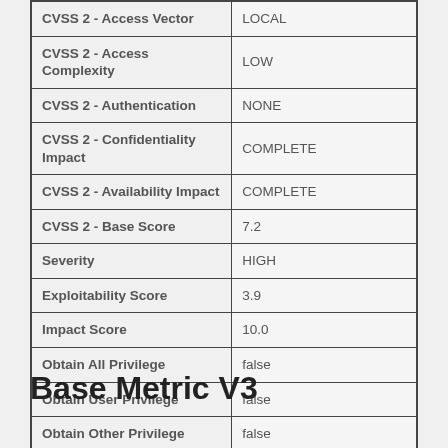| Metric | Value |
| --- | --- |
| CVSS 2 - Access Vector | LOCAL |
| CVSS 2 - Access Complexity | LOW |
| CVSS 2 - Authentication | NONE |
| CVSS 2 - Confidentiality Impact | COMPLETE |
| CVSS 2 - Availability Impact | COMPLETE |
| CVSS 2 - Base Score | 7.2 |
| Severity | HIGH |
| Exploitability Score | 3.9 |
| Impact Score | 10.0 |
| Obtain All Privilege | false |
| Obtain User Privilege | false |
| Obtain Other Privilege | false |
Base Metric V3